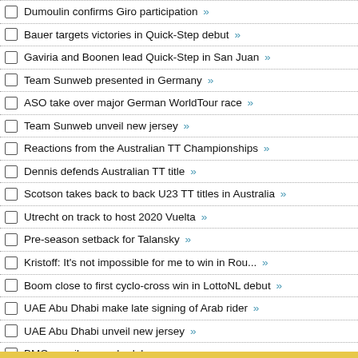Dumoulin confirms Giro participation »
Bauer targets victories in Quick-Step debut »
Gaviria and Boonen lead Quick-Step in San Juan »
Team Sunweb presented in Germany »
ASO take over major German WorldTour race »
Team Sunweb unveil new jersey »
Reactions from the Australian TT Championships »
Dennis defends Australian TT title »
Scotson takes back to back U23 TT titles in Australia »
Utrecht on track to host 2020 Vuelta »
Pre-season setback for Talansky »
Kristoff: It's not impossible for me to win in Rou... »
Boom close to first cyclo-cross win in LottoNL debut »
UAE Abu Dhabi make late signing of Arab rider »
UAE Abu Dhabi unveil new jersey »
BMC unveil race schedule »
Androni sign Costa Rican super talent »